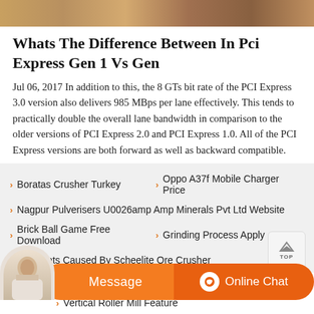[Figure (photo): Top banner image with warm brown/tan tones, partial view of an outdoor or machinery scene]
Whats The Difference Between In Pci Express Gen 1 Vs Gen
Jul 06, 2017 In addition to this, the 8 GTs bit rate of the PCI Express 3.0 version also delivers 985 MBps per lane effectively. This tends to practically double the overall lane bandwidth in comparison to the older versions of PCI Express 2.0 and PCI Express 1.0. All of the PCI Express versions are both forward as well as backward compatible.
Boratas Crusher Turkey
Oppo A37f Mobile Charger Price
Nagpur Pulverisers U0026amp Amp Minerals Pvt Ltd Website
Brick Ball Game Free Download
Grinding Process Apply
Pollutants Caused By Scheelite Ore Crusher
Vertical Roller Mill Feature